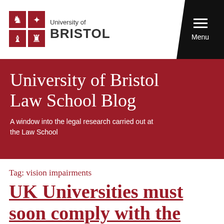[Figure (logo): University of Bristol logo with red crest and University of Bristol text]
Menu
University of Bristol Law School Blog
A window into the legal research carried out at the Law School
Tag: vision impairments
UK Universities must soon comply with the EU Web Accessibility